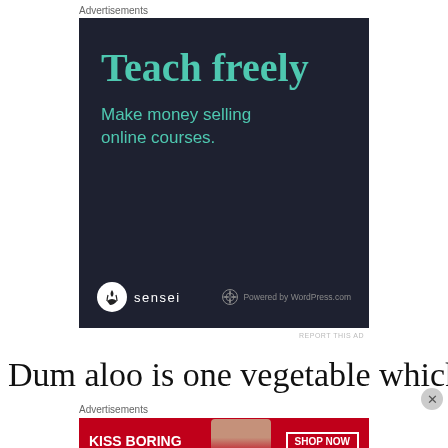Advertisements
[Figure (illustration): Dark navy advertisement banner for Sensei plugin. Large teal text reads 'Teach freely'. Below in smaller teal text: 'Make money selling online courses.' At the bottom, Sensei logo (tree icon in white circle) and 'sensei' text on left; WordPress logo and 'Powered by WordPress.com' on right.]
REPORT THIS AD
Dum aloo is one vegetable which
Advertisements
[Figure (illustration): Red advertisement banner for Macy's. Left side shows 'KISS BORING LIPS GOODBYE' in white bold text. Center shows a woman's face with red lipstick. Right side has 'SHOP NOW' button outline and 'macys' star logo in white.]